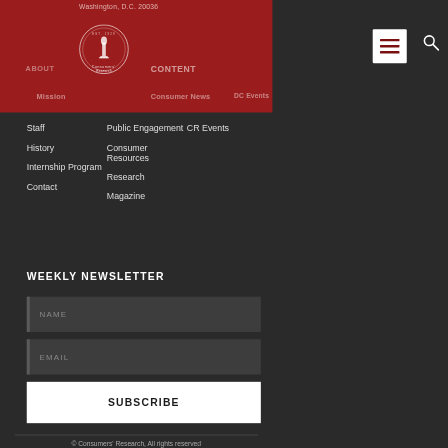Washington, D.C. 20036
[Figure (logo): Consumers Research circular logo with torch emblem, white on red background]
ABOUT
CONTENT
Mission
Consumer News
DC Events
Staff
Public Engagement
CR Events
History
Consumer Resources
Internship Program
Research
Contact
Magazine
WEEKLY NEWSLETTER
NAME
EMAIL
SUBSCRIBE
© Consumers' Research, All rights reserved